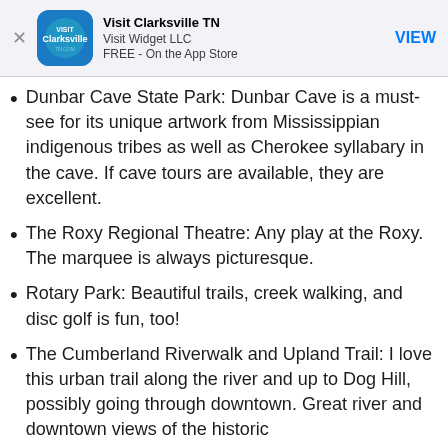[Figure (screenshot): App Store banner for 'Visit Clarksville TN' by Visit Widget LLC, FREE on the App Store, with a VIEW button]
Dunbar Cave State Park: Dunbar Cave is a must-see for its unique artwork from Mississippian indigenous tribes as well as Cherokee syllabary in the cave. If cave tours are available, they are excellent.
The Roxy Regional Theatre: Any play at the Roxy. The marquee is always picturesque.
Rotary Park: Beautiful trails, creek walking, and disc golf is fun, too!
The Cumberland Riverwalk and Upland Trail: I love this urban trail along the river and up to Dog Hill, possibly going through downtown. Great river and downtown views of the historic